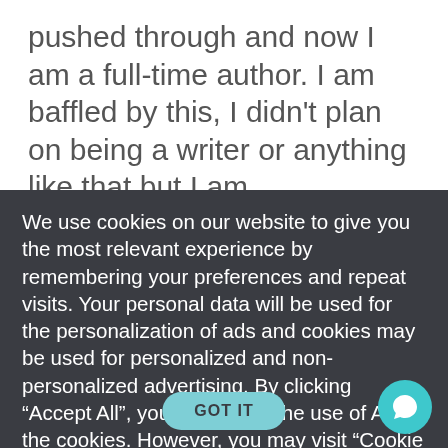pushed through and now I am a full-time author. I am baffled by this, I didn't plan on being a writer or anything like that but I am
We use cookies on our website to give you the most relevant experience by remembering your preferences and repeat visits. Your personal data will be used for the personalization of ads and cookies may be used for personalized and non-personalized advertising. By clicking “Accept All”, you consent to the use of ALL the cookies. However, you may visit “Cookie Settings” to provide a controlled consent. Read our cookies policy here